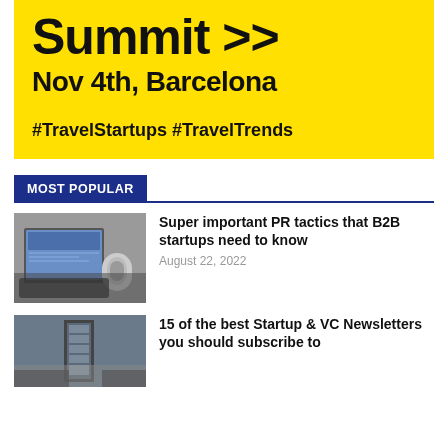[Figure (infographic): Yellow promotional banner with bold black text reading 'Summit >>', 'Nov 4th, Barcelona', and hashtags '#TravelStartups #TravelTrends']
MOST POPULAR
[Figure (photo): Person using a laptop and smartphone at a desk]
Super important PR tactics that B2B startups need to know
August 22, 2022
[Figure (photo): Urban building or tower viewed from below]
15 of the best Startup & VC Newsletters you should subscribe to